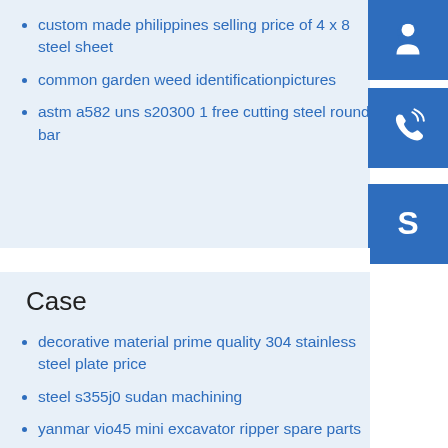custom made philippines selling price of 4 x 8 steel sheet
common garden weed identificationpictures
astm a582 uns s20300 1 free cutting steel round bar
[Figure (illustration): Blue square icon with white customer support headset silhouette]
[Figure (illustration): Blue square icon with white telephone/call icon with signal waves]
[Figure (illustration): Blue square icon with white Skype logo letter S]
Case
decorative material prime quality 304 stainless steel plate price
steel s355j0 sudan machining
yanmar vio45 mini excavator ripper spare parts
polished white spring steel sae1070 1075